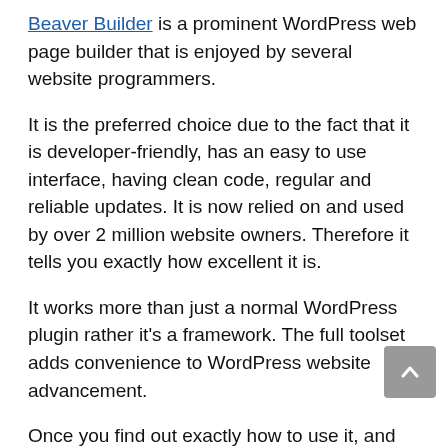Beaver Builder is a prominent WordPress web page builder that is enjoyed by several website programmers.
It is the preferred choice due to the fact that it is developer-friendly, has an easy to use interface, having clean code, regular and reliable updates. It is now relied on and used by over 2 million website owners. Therefore it tells you exactly how excellent it is.
It works more than just a normal WordPress plugin rather it’s a framework. The full toolset adds convenience to WordPress website advancement.
Once you find out exactly how to use it, and also it’s very easy to work with. It permits